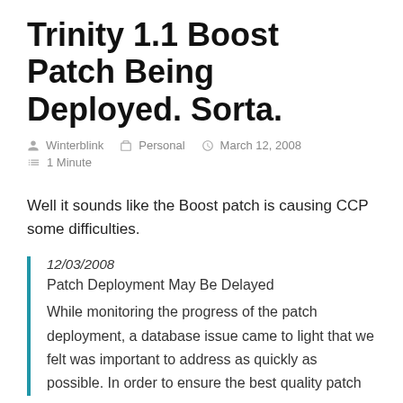Trinity 1.1 Boost Patch Being Deployed. Sorta.
Winterblink  Personal  March 12, 2008  1 Minute
Well it sounds like the Boost patch is causing CCP some difficulties.
12/03/2008
Patch Deployment May Be Delayed
While monitoring the progress of the patch deployment, a database issue came to light that we felt was important to address as quickly as possible. In order to ensure the best quality patch